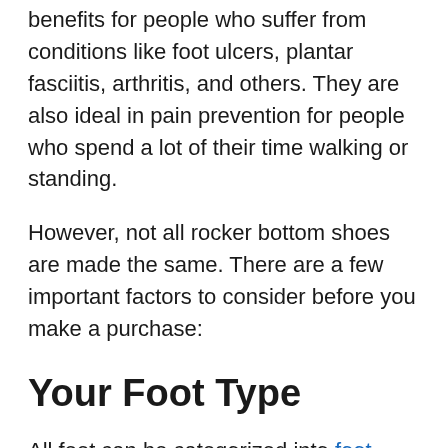benefits for people who suffer from conditions like foot ulcers, plantar fasciitis, arthritis, and others. They are also ideal in pain prevention for people who spend a lot of their time walking or standing.
However, not all rocker bottom shoes are made the same. There are a few important factors to consider before you make a purchase:
Your Foot Type
All feet can be categorized into foot types.
Healthy foot types can benefit from rocker bottom shoes as they assist in exercise and muscle training. However,